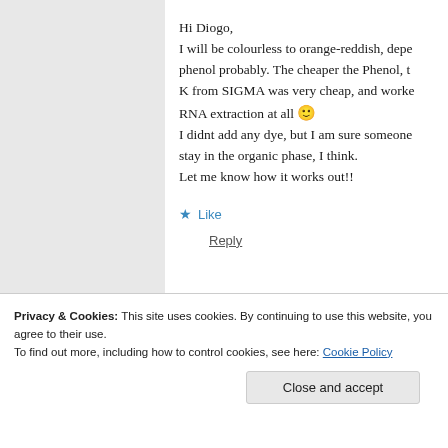Hi Diogo,
I will be colourless to orange-reddish, depending on phenol probably. The cheaper the Phenol, the more... K from SIGMA was very cheap, and worked... RNA extraction at all 🙂
I didnt add any dye, but I am sure someone... stay in the organic phase, I think.
Let me know how it works out!!
★ Like
Reply
Privacy & Cookies: This site uses cookies. By continuing to use this website, you agree to their use.
To find out more, including how to control cookies, see here: Cookie Policy
Close and accept